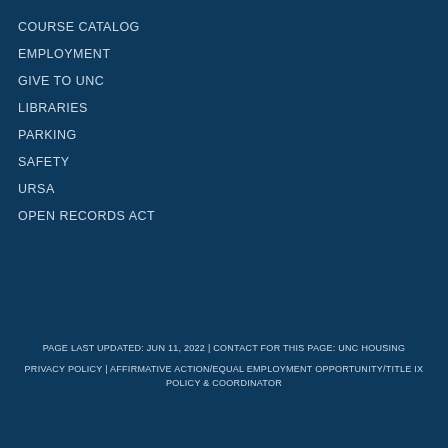COURSE CATALOG
EMPLOYMENT
GIVE TO UNC
LIBRARIES
PARKING
SAFETY
URSA
OPEN RECORDS ACT
PAGE LAST UPDATED: JUN 11, 2022 | CONTACT FOR THIS PAGE: UNC HOUSING
PRIVACY POLICY | AFFIRMATIVE ACTION/EQUAL EMPLOYMENT OPPORTUNITY/TITLE IX POLICY & COORDINATOR